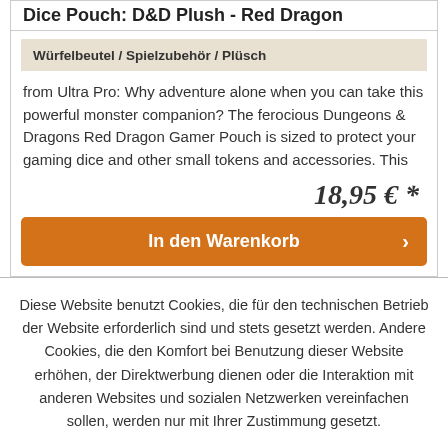Dice Pouch: D&D Plush - Red Dragon
Würfelbeutel / Spielzubehör / Plüsch
from Ultra Pro: Why adventure alone when you can take this powerful monster companion? The ferocious Dungeons & Dragons Red Dragon Gamer Pouch is sized to protect your gaming dice and other small tokens and accessories. This
18,95 € *
In den Warenkorb
Diese Website benutzt Cookies, die für den technischen Betrieb der Website erforderlich sind und stets gesetzt werden. Andere Cookies, die den Komfort bei Benutzung dieser Website erhöhen, der Direktwerbung dienen oder die Interaktion mit anderen Websites und sozialen Netzwerken vereinfachen sollen, werden nur mit Ihrer Zustimmung gesetzt.
Ablehnen
Alle akzeptieren
Konfigurieren